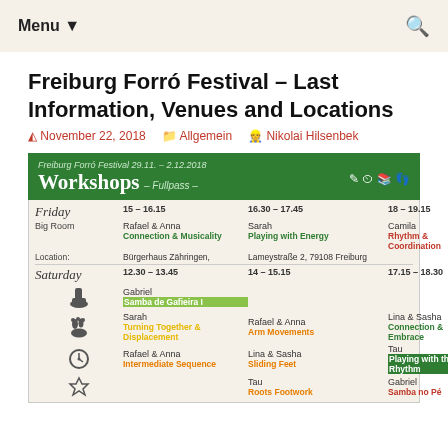Menu  🔍
Freiburg Forró Festival – Last Information, Venues and Locations
November 22, 2018  Allgemein  Nikolai Hilsenbek
[Figure (infographic): Green banner reading 'Freiburg Forró Festival 29.11. – 2.12.2018 Workshops – Fullpass –' with icons]
| Day/Room | 15–16.15 / 12.30–13.45 | 16.30–17.45 / 14–15.15 | 18–19.15 / 17.15–18.30 |
| --- | --- | --- | --- |
| Friday | 15 – 16.15 | 16.30  – 17.45 | 18 – 19.15 |
| Big Room | Rafael & Anna
Connection & Musicality | Sarah
Playing with Energy | Camila
Rhythm & Coordination |
| Location: | Bürgerhaus Zähringen, | Lameystraße 2, 79108 Freiburg |  |
| Saturday | 12.30 – 13.45 | 14 – 15.15 | 17.15 – 18.30 |
| [boot icon] | Gabriel
Samba de Gafieira I |  |  |
| [foot icon] | Sarah
Turning Together & Displacement | Rafael & Anna
Arm Movements | Lina & Sasha
Connection & Embrace |
| [clock icon] | Rafael & Anna
Intermediate Sequence | Lina & Sasha
Sliding Feet | Tau
Playing with the Rhythm |
| [star icon] |  | Tau
Roots Footwork | Gabriel
Samba no Pé |